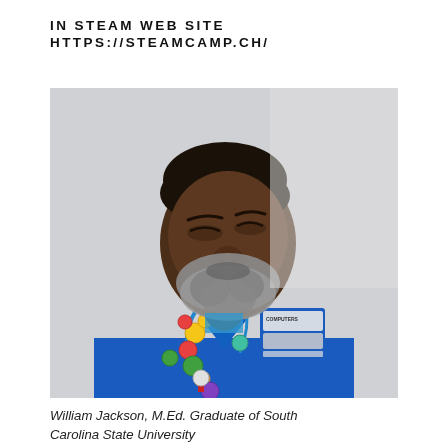IN STEAM WEB SITE HTTPS://STEAMCAMP.CH/
[Figure (photo): Portrait photo of William Jackson, a man smiling and looking to his right, wearing a bright blue jacket with a colorful medal/pin lanyard around his neck. He has a short gray-streaked beard and short dark hair. The background is light gray/white.]
William Jackson, M.Ed. Graduate of South Carolina State University